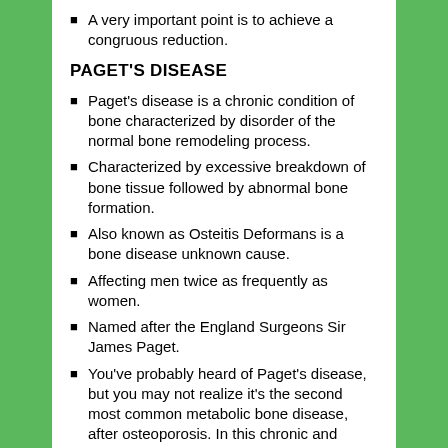A very important point is to achieve a congruous reduction.
PAGET'S DISEASE
Paget's disease is a chronic condition of bone characterized by disorder of the normal bone remodeling process.
Characterized by excessive breakdown of bone tissue followed by abnormal bone formation.
Also known as Osteitis Deformans is a bone disease unknown cause.
Affecting men twice as frequently as women.
Named after the England Surgeons Sir James Paget.
You've probably heard of Paget's disease, but you may not realize it's the second most common metabolic bone disease, after osteoporosis. In this chronic and progressive bone-remodeling condition, large and abnormal osteoclasts increase bone resorption (breakdown) at single or multiple bone